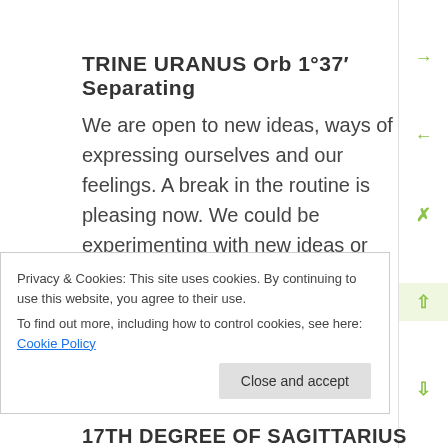TRINE URANUS Orb 1°37′ Separating
We are open to new ideas, ways of expressing ourselves and our feelings. A break in the routine is pleasing now. We could be experimenting with new ideas or feelings. There can be chance meetings, events that occur that open our hearts or our emotional awareness.
THE SUN
Privacy & Cookies: This site uses cookies. By continuing to use this website, you agree to their use. To find out more, including how to control cookies, see here: Cookie Policy
17TH DEGREE OF SAGITTARIUS